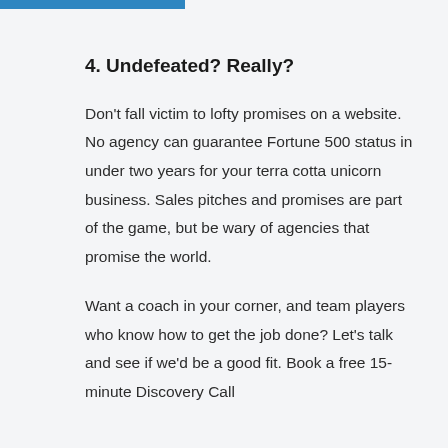4. Undefeated? Really?
Don't fall victim to lofty promises on a website. No agency can guarantee Fortune 500 status in under two years for your terra cotta unicorn business. Sales pitches and promises are part of the game, but be wary of agencies that promise the world.
Want a coach in your corner, and team players who know how to get the job done? Let's talk and see if we'd be a good fit. Book a free 15-minute Discovery Call.